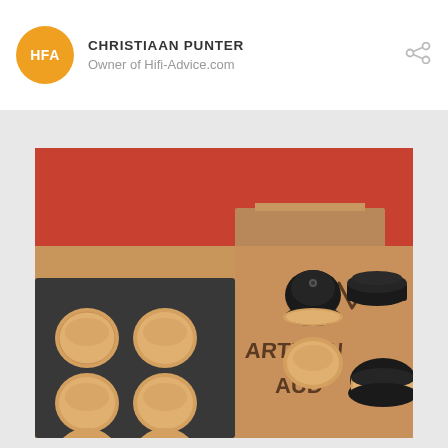CHRISTIAAN PUNTER — Owner of Hifi-Advice.com
[Figure (photo): Photo of Artisan Audio equipment feet/isolators: wooden discs in a foam tray, black ceramic/metal isolation feet, and a branded leather or cardboard package showing 'ARTISAN AUDIO' logo with a zigzag waveform symbol, on a red textured background.]